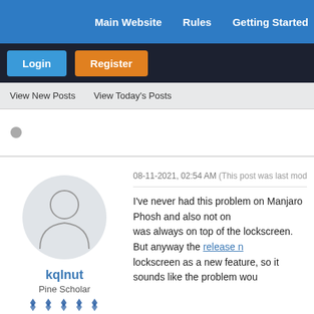Main Website   Rules   Getting Started
Login   Register
View New Posts   View Today's Posts
[Figure (illustration): Gray circular thread status icon]
[Figure (illustration): Generic user avatar silhouette in a light gray circle]
kqlnut
Pine Scholar
[Figure (illustration): Four blue pine cone / rank star icons in a row]
08-11-2021, 02:54 AM (This post was last modified: 08-11-2021, 03:12 AM by kqlnut
I've never had this problem on Manjaro Phosh and also not on... was always on top of the lockscreen. But anyway the release n... lockscreen as a new feature, so it sounds like the problem wou...